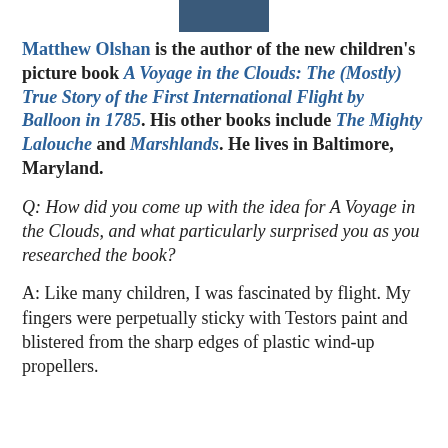[Figure (photo): Partial photo of Matthew Olshan, cropped at top of page]
Matthew Olshan is the author of the new children's picture book A Voyage in the Clouds: The (Mostly) True Story of the First International Flight by Balloon in 1785. His other books include The Mighty Lalouche and Marshlands. He lives in Baltimore, Maryland.
Q: How did you come up with the idea for A Voyage in the Clouds, and what particularly surprised you as you researched the book?
A: Like many children, I was fascinated by flight. My fingers were perpetually sticky with Testors paint and blistered from the sharp edges of plastic wind-up propellers.